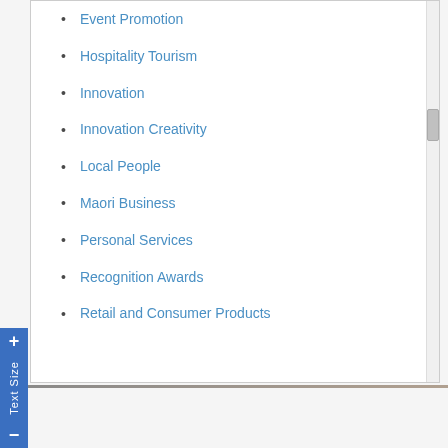Event Promotion
Hospitality Tourism
Innovation
Innovation Creativity
Local People
Maori Business
Personal Services
Recognition Awards
Retail and Consumer Products